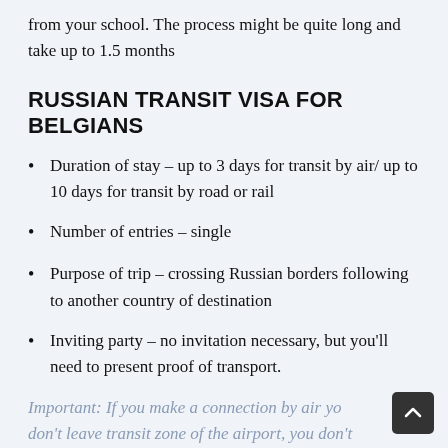from your school. The process might be quite long and take up to 1.5 months
RUSSIAN TRANSIT VISA FOR BELGIANS
Duration of stay – up to 3 days for transit by air/ up to 10 days for transit by road or rail
Number of entries – single
Purpose of trip – crossing Russian borders following to another country of destination
Inviting party – no invitation necessary, but you'll need to present proof of transport.
Important: If you make a connection by air you don't leave transit zone of the airport, you don't